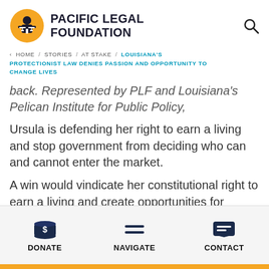[Figure (logo): Pacific Legal Foundation logo with yellow circle and figure, and bold text PACIFIC LEGAL FOUNDATION]
< HOME / STORIES / AT STAKE / LOUISIANA'S PROTECTIONIST LAW DENIES PASSION AND OPPORTUNITY TO CHANGE LIVES
back. Represented by PLF and Louisiana's Pelican Institute for Public Policy,
Ursula is defending her right to earn a living and stop government from deciding who can and cannot enter the market.
A win would vindicate her constitutional right to earn a living and create opportunities for
DONATE   NAVIGATE   CONTACT